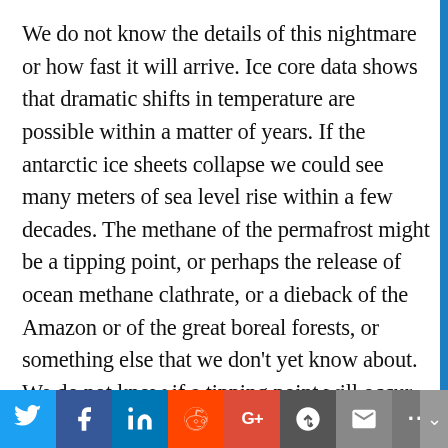We do not know the details of this nightmare or how fast it will arrive. Ice core data shows that dramatic shifts in temperature are possible within a matter of years. If the antarctic ice sheets collapse we could see many meters of sea level rise within a few decades. The methane of the permafrost might be a tipping point, or perhaps the release of ocean methane clathrate, or a dieback of the Amazon or of the great boreal forests, or something else that we don't yet know about. We do not know if a tipping point will occur at 2°C, or 2.2°C or 1.8°C or something else. We don't know the specific details of the coming nightmare or